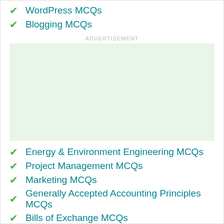WordPress MCQs
Blogging MCQs
[Figure (other): Advertisement placeholder box with light green background]
Energy & Environment Engineering MCQs
Project Management MCQs
Marketing MCQs
Generally Accepted Accounting Principles MCQs
Bills of Exchange MCQs